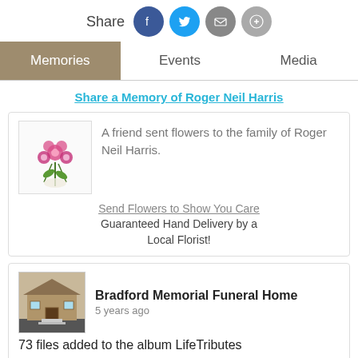Share
Memories | Events | Media
Share a Memory of Roger Neil Harris
A friend sent flowers to the family of Roger Neil Harris.
Send Flowers to Show You Care
Guaranteed Hand Delivery by a Local Florist!
Bradford Memorial Funeral Home
5 years ago
73 files added to the album LifeTributes